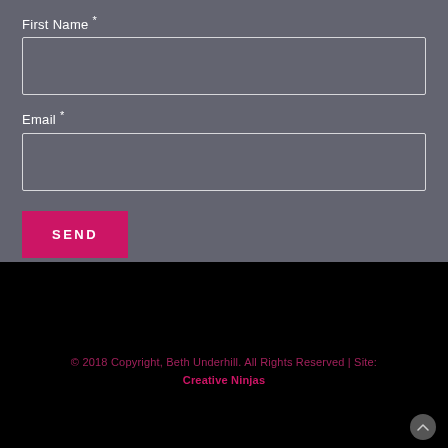First Name *
[Figure (other): Empty text input field for First Name]
Email *
[Figure (other): Empty text input field for Email]
SEND
© 2018 Copyright, Beth Underhill. All Rights Reserved | Site: Creative Ninjas